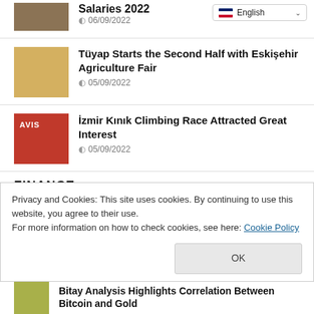[Figure (photo): Thumbnail image for salaries article (top, partially visible)]
Salaries 2022
06/09/2022
English (language selector)
[Figure (photo): Thumbnail image for Tüyap fair article showing people at fair]
Tüyap Starts the Second Half with Eskişehir Agriculture Fair
05/09/2022
[Figure (photo): Thumbnail showing red AVIS arch with car at İzmir Kınık climbing race]
İzmir Kınık Climbing Race Attracted Great Interest
05/09/2022
FINANCE
Privacy and Cookies: This site uses cookies. By continuing to use this website, you agree to their use.
For more information on how to check cookies, see here: Cookie Policy
OK
[Figure (photo): Thumbnail for Bitcoin and Gold article (partially visible)]
Bitay Analysis Highlights Correlation Between Bitcoin and Gold